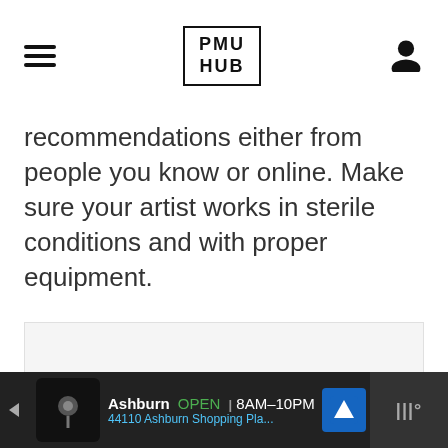PMU HUB
recommendations either from people you know or online. Make sure your artist works in sterile conditions and with proper equipment.
[Figure (other): Advertisement/content placeholder area with play button icon and navigation dots]
Ashburn OPEN 8AM-10PM 44110 Ashburn Shopping Pla...